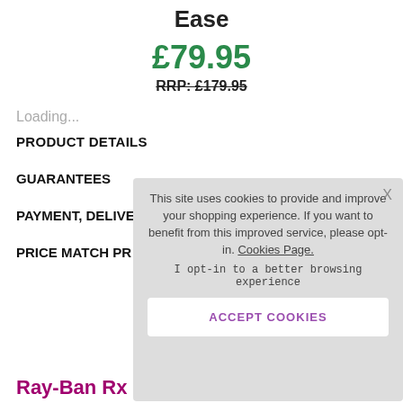Ease
£79.95
RRP: £179.95
Loading...
PRODUCT DETAILS
GUARANTEES
PAYMENT, DELIVERY
PRICE MATCH PR
[Figure (screenshot): Cookie consent popup overlay with text: 'This site uses cookies to provide and improve your shopping experience. If you want to benefit from this improved service, please opt-in. Cookies Page.' and 'I opt-in to a better browsing experience', with an ACCEPT COOKIES button and an X close button.]
Ray-Ban RX